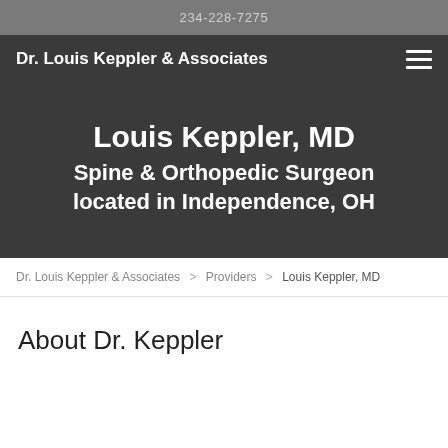234-228-7275
Dr. Louis Keppler & Associates
Louis Keppler, MD Spine & Orthopedic Surgeon located in Independence, OH
Dr. Louis Keppler & Associates > Providers > Louis Keppler, MD
About Dr. Keppler